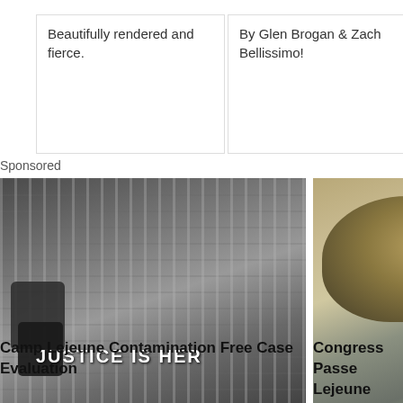Beautifully rendered and fierce.
By Glen Brogan & Zach Bellissimo!
So
Sponsored
[Figure (photo): Black and white photo of military dog tags hanging on a wall with text overlay 'JUSTICE IS HER']
Camp Lejeune Contamination Free Case Evaluation
[Figure (photo): Photo of a soldier wearing a military helmet, face partially visible with orange glow]
Congress Passe Lejeune Familie